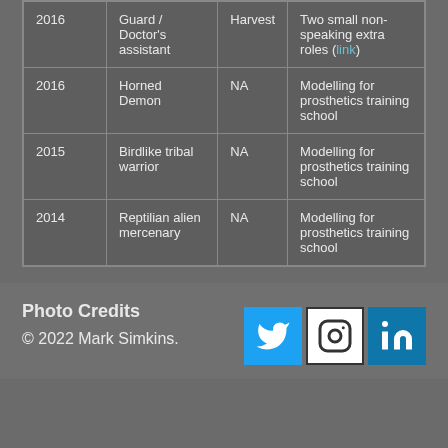| Year | Role | Production | Notes |
| --- | --- | --- | --- |
| 2016 | Guard / Doctor's assistant | Harvest | Two small non-speaking extra roles (link) |
| 2016 | Horned Demon | NA | Modelling for prosthetics training school |
| 2015 | Birdlike tribal warrior | NA | Modelling for prosthetics training school |
| 2014 | Reptilian alien mercenary | NA | Modelling for prosthetics training school |
Photo Credits
© 2022 Mark Simkins.